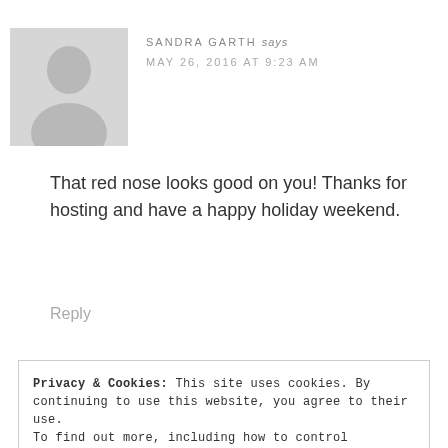[Figure (illustration): Default grey silhouette avatar placeholder image]
SANDRA GARTH says
MAY 26, 2016 AT 9:23 AM
That red nose looks good on you! Thanks for hosting and have a happy holiday weekend.
Reply
Privacy & Cookies: This site uses cookies. By continuing to use this website, you agree to their use.
To find out more, including how to control cookies, see here:
Cookie Policy
Close and accept